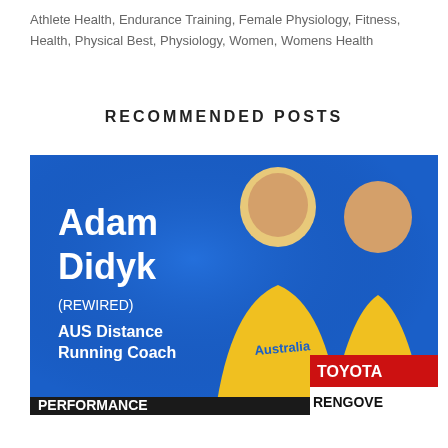Athlete Health, Endurance Training, Female Physiology, Fitness, Health, Physical Best, Physiology, Women, Womens Health
RECOMMENDED POSTS
[Figure (photo): Promotional image for Adam Didyk (REWIRED), AUS Distance Running Coach, showing two athletes in yellow Australian uniforms against a blue background. Includes Google Rating 5.0 with five stars overlay, and a TOYOTA/RENGOVE banner visible in background.]